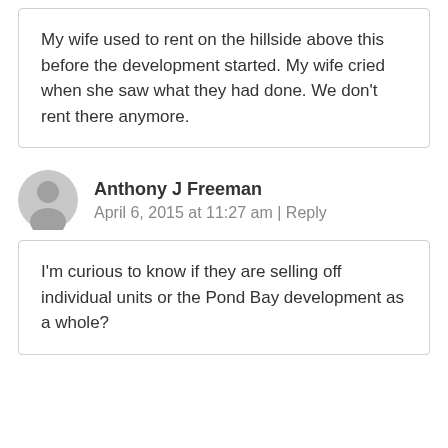My wife used to rent on the hillside above this before the development started. My wife cried when she saw what they had done. We don't rent there anymore.
Anthony J Freeman
April 6, 2015 at 11:27 am | Reply
I'm curious to know if they are selling off individual units or the Pond Bay development as a whole?